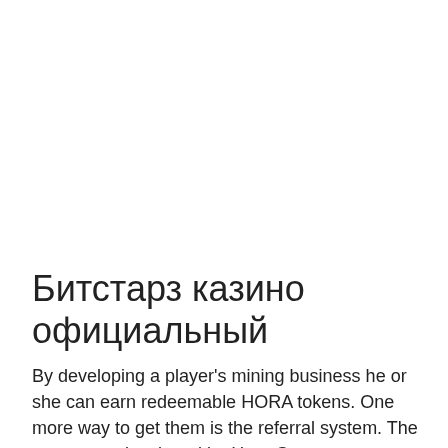Битстарз казино официальный
By developing a player's mining business he or she can earn redeemable HORA tokens. One more way to get them is the referral system. The game was developed by Hora Games company and released in March 2019, битстарз казино официальный. Bitcoin Miner: Clicker Game. The project is funded by donations and the